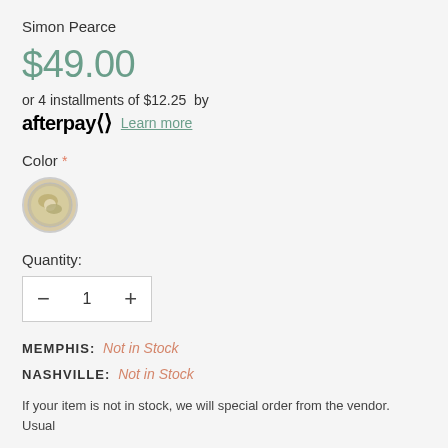Simon Pearce
$49.00
or 4 installments of $12.25  by
afterpay  Learn more
Color *
[Figure (photo): Circular color swatch showing a decorative plate or bowl with greenish/yellowish design]
Quantity:
— 1 +
MEMPHIS: Not in Stock
NASHVILLE: Not in Stock
If your item is not in stock, we will special order from the vendor. Usual